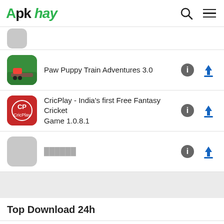Apk hay
Paw Puppy Train Adventures 3.0
CricPlay - India's first Free Fantasy Cricket Game 1.0.8.1
██████
Top Download 24h
Авто.ру: купить и продать авто 6.1.1
Shopee: แอป 1 ช้อปปิ้งออนไลน์ 2.31.15